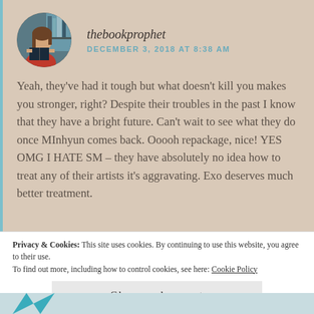thebookprophet
DECEMBER 3, 2018 AT 8:38 AM
Yeah, they've had it tough but what doesn't kill you makes you stronger, right? Despite their troubles in the past I know that they have a bright future. Can't wait to see what they do once MInhyun comes back. Ooooh repackage, nice! YES OMG I HATE SM – they have absolutely no idea how to treat any of their artists it's aggravating. Exo deserves much better treatment.
Privacy & Cookies: This site uses cookies. By continuing to use this website, you agree to their use.
To find out more, including how to control cookies, see here: Cookie Policy
Close and accept